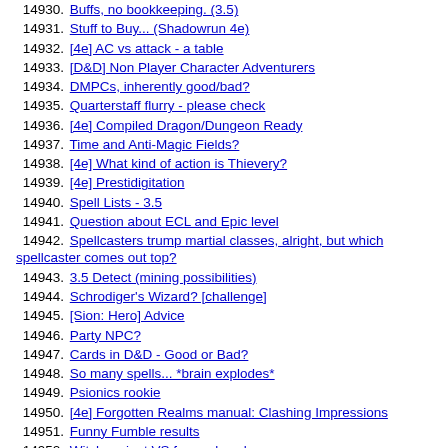14930. Buffs, no bookkeeping. (3.5)
14931. Stuff to Buy... (Shadowrun 4e)
14932. [4e] AC vs attack - a table
14933. [D&D] Non Player Character Adventurers
14934. DMPCs, inherently good/bad?
14935. Quarterstaff flurry - please check
14936. [4e] Compiled Dragon/Dungeon Ready
14937. Time and Anti-Magic Fields?
14938. [4e] What kind of action is Thievery?
14939. [4e] Prestidigitation
14940. Spell Lists - 3.5
14941. Question about ECL and Epic level
14942. Spellcasters trump martial classes, alright, but which spellcaster comes out top?
14943. 3.5 Detect (mining possibilities)
14944. Schrodiger's Wizard? [challenge]
14945. [Sion: Hero] Advice
14946. Party NPC?
14947. Cards in D&D - Good or Bad?
14948. So many spells... *brain explodes*
14949. Psionics rookie
14950. [4e] Forgotten Realms manual: Clashing Impressions
14951. Funny Fumble results
14952. Witch variant VS favored soul
14953. (3.5) Blindness and AC
14954. [4e] 1001 uses for Cantrips!
14955. [4e] Playing without AC
14956. Oldest Player.... ??
14957. "Just Say it is the Case"
14958. racial abilities